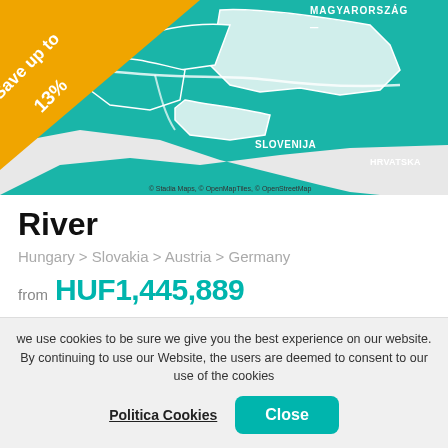[Figure (map): Map showing Central Europe including Hungary, Slovakia, Austria, Germany, Slovenia, Croatia. Teal/green colored map with river routes. Orange triangle badge in top-left corner showing 'Save up to 13%'. Map attribution: © Stadia Maps, © OpenMapTiles, © OpenStreetMap]
River
Hungary > Slovakia > Austria > Germany
from HUF1,445,889
Tour Operator
Emerald Cruises
Ship
Emerald Sky
Depart from
Budapest
Length
7 Nights
we use cookies to be sure we give you the best experience on our website. By continuing to use our Website, the users are deemed to consent to our use of the cookies
Politica Cookies
Close